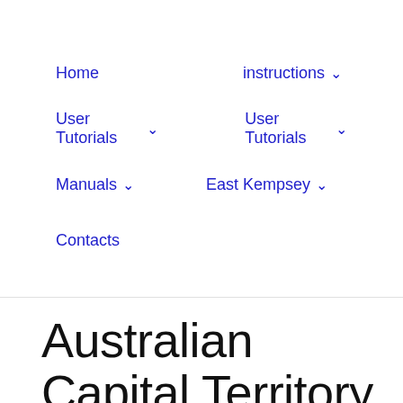Home    instructions ∨    User Tutorials ∨    User Tutorials ∨    Manuals ∨    East Kempsey ∨    Contacts
Australian Capital Territory